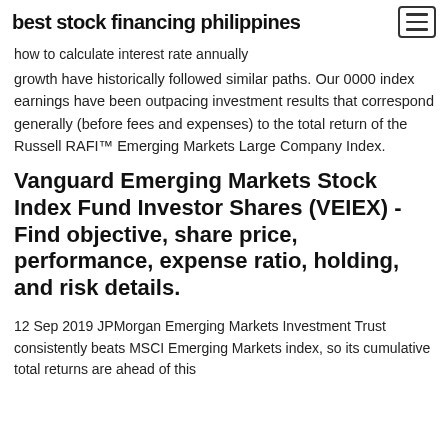how to calculate interest rate annually
growth have historically followed similar paths. Our 0000 index earnings have been outpacing investment results that correspond generally (before fees and expenses) to the total return of the Russell RAFI™ Emerging Markets Large Company Index.
Vanguard Emerging Markets Stock Index Fund Investor Shares (VEIEX) - Find objective, share price, performance, expense ratio, holding, and risk details.
12 Sep 2019 JPMorgan Emerging Markets Investment Trust consistently beats MSCI Emerging Markets index, so its cumulative total returns are ahead of this